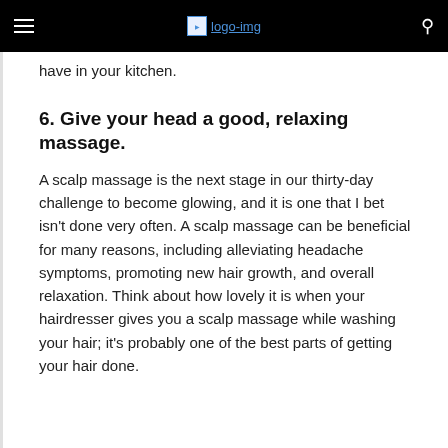logo-img
have in your kitchen.
6. Give your head a good, relaxing massage.
A scalp massage is the next stage in our thirty-day challenge to become glowing, and it is one that I bet isn't done very often. A scalp massage can be beneficial for many reasons, including alleviating headache symptoms, promoting new hair growth, and overall relaxation. Think about how lovely it is when your hairdresser gives you a scalp massage while washing your hair; it's probably one of the best parts of getting your hair done.